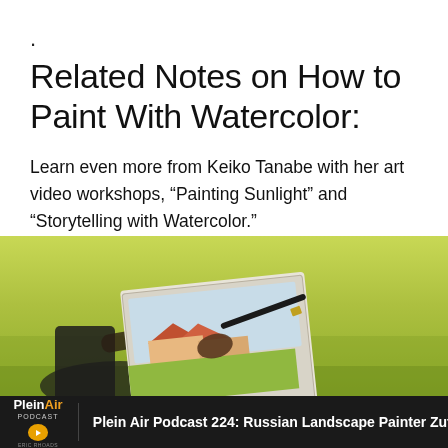.
Related Notes on How to Paint With Watercolor:
Learn even more from Keiko Tanabe with her art video workshops, “Painting Sunlight” and “Storytelling with Watercolor.”
[Figure (photo): A person painting a watercolor landscape on a canvas pad outdoors on green grass, holding a brush, painting a building scene]
Plein Air Podcast 224: Russian Landscape Painter Zufar Bikbo